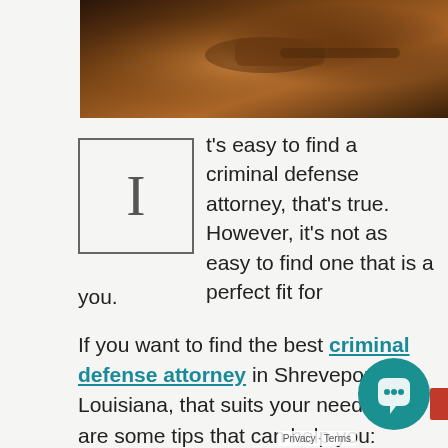[Figure (photo): Top portion of a photograph showing what appears to be a wooden gavel or legal/judge-related object on a warm-toned background]
It's easy to find a criminal defense attorney, that's true. However, it's not as easy to find one that is a perfect fit for you.
If you want to find the best criminal defense attorney in Shreveport, Louisiana, that suits your needs, here are some tips that can help you:
What type of legal help are you in need of?
Make Sure That the Attorney